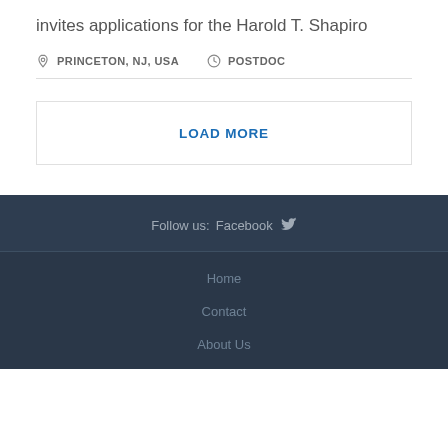invites applications for the Harold T. Shapiro
PRINCETON, NJ, USA   POSTDOC
LOAD MORE
Follow us:  Facebook  [Twitter icon]
Home
Contact
About Us